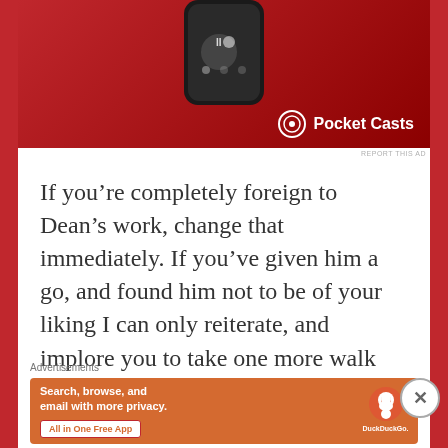[Figure (screenshot): Pocket Casts app advertisement banner with red background showing a phone device and Pocket Casts logo with icon]
If you’re completely foreign to Dean’s work, change that immediately. If you’ve given him a go, and found him not to be of your liking I can only reiterate, and implore you to take one more walk through the intricate passages of this man’s imagination!
Advertisements
[Figure (screenshot): DuckDuckGo advertisement banner with orange background: Search, browse, and email with more privacy. All in One Free App. DuckDuckGo logo on right side with phone graphic.]